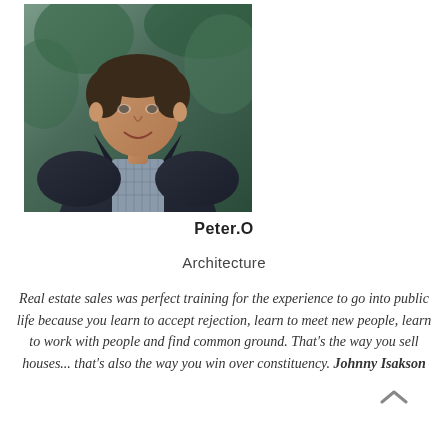[Figure (photo): Professional headshot of a man in a dark blazer and plaid shirt, outdoors with green background]
Peter.O
Architecture
Real estate sales was perfect training for the experience to go into public life because you learn to accept rejection, learn to meet new people, learn to work with people and find common ground. That's the way you sell houses... that's also the way you win over constituency. Johnny Isakson